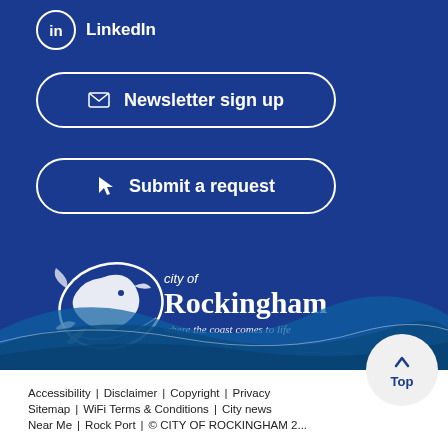LinkedIn
Newsletter sign up
Submit a request
[Figure (logo): City of Rockingham logo — stylized dolphin with text 'city of Rockingham where the coast comes to life']
[Figure (illustration): Decorative blue wave pattern at the bottom of the blue section]
Accessibility | Disclaimer | Copyright | Privacy | Sitemap | WiFi Terms & Conditions | City news | Near Me | Rock Port | © CITY OF ROCKINGHAM 2...